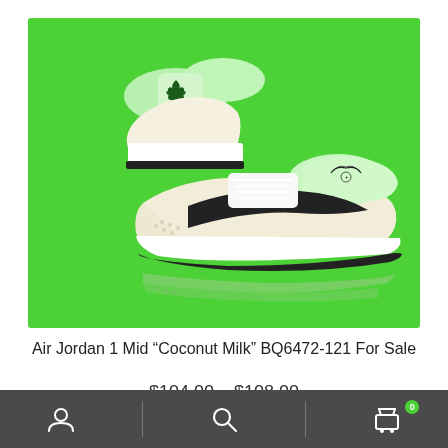[Figure (photo): Air Jordan 1 Mid Coconut Milk sneakers (cream/white with black swoosh) displayed on a bright green background. Two shoes shown, one upright from behind and one from the side showing the sole and profile.]
Air Jordan 1 Mid “Coconut Milk” BQ6472-121 For Sale
$104.00 – $108.00
User icon | Search icon | Cart icon (0)